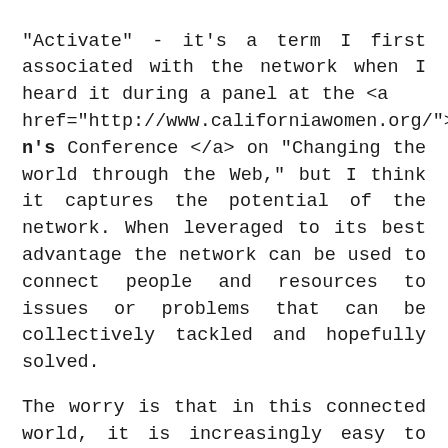"Activate" - it's a term I first associated with the network when I heard it during a panel at the <a href="http://www.californiawomen.org/">Women's Conference </a> on "Changing the world through the Web," but I think it captures the potential of the network. When leveraged to its best advantage the network can be used to connect people and resources to issues or problems that can be collectively tackled and hopefully solved.
The worry is that in this connected world, it is increasingly easy to retreat to the virtual world and not connect back to the physical one. There is a danger that we could rely too heavily on the network for our social interactions. When this happens, it is easy to be interested in